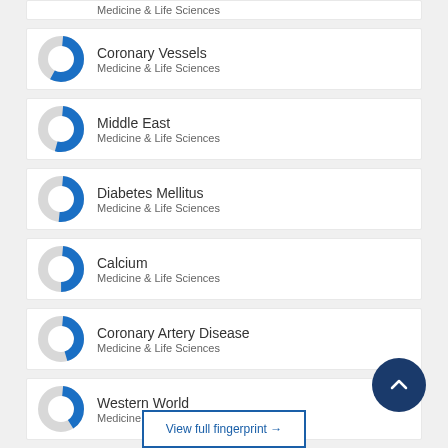Medicine & Life Sciences (partial, top)
Coronary Vessels — Medicine & Life Sciences
Middle East — Medicine & Life Sciences
Diabetes Mellitus — Medicine & Life Sciences
Calcium — Medicine & Life Sciences
Coronary Artery Disease — Medicine & Life Sciences
Western World — Medicine & Life Sciences
View full fingerprint →